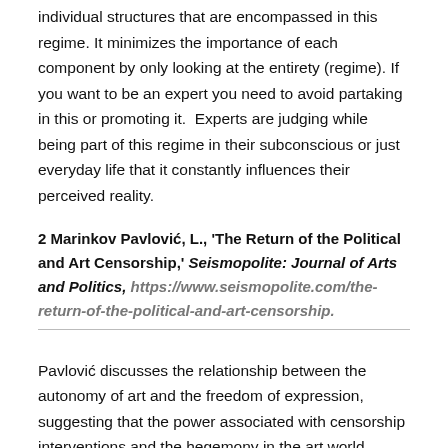individual structures that are encompassed in this regime. It minimizes the importance of each component by only looking at the entirety (regime). If you want to be an expert you need to avoid partaking in this or promoting it.  Experts are judging while being part of this regime in their subconscious or just everyday life that it constantly influences their perceived reality.
2 Marinkov Pavlović, L., 'The Return of the Political and Art Censorship,' Seismopolite: Journal of Arts and Politics, https://www.seismopolite.com/the-return-of-the-political-and-art-censorship.
Pavlović discusses the relationship between the autonomy of art and the freedom of expression, suggesting that the power associated with censorship interventions and the hegemony in the art world forces art to be complacent with social rules or policies that